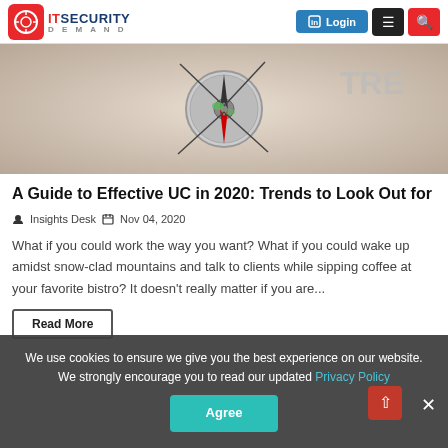IT Security Demand | Login | Menu | Search
[Figure (photo): Close-up of a compass with green arrow pointing forward, on a light background with 'TRE...' text visible]
A Guide to Effective UC in 2020: Trends to Look Out for
Insights Desk  Nov 04, 2020
What if you could work the way you want? What if you could wake up amidst snow-clad mountains and talk to clients while sipping coffee at your favorite bistro? It doesn't really matter if you are...
Read More
We use cookies to ensure we give you the best experience on our website. We strongly encourage you to read our updated Privacy Policy
Agree